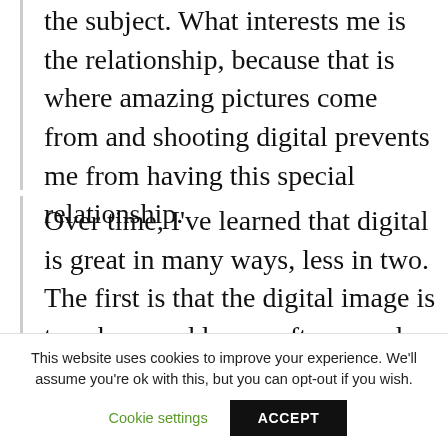the subject. What interests me is the relationship, because that is where amazing pictures come from and shooting digital prevents me from having this special relationship.
Over time, I've learned that digital is great in many ways, less in two. The first is that the digital image is too sharp and loses softness and emotion. That's why I use Photoshop to reduce the digital effect.
This website uses cookies to improve your experience. We'll assume you're ok with this, but you can opt-out if you wish.
Cookie settings
ACCEPT